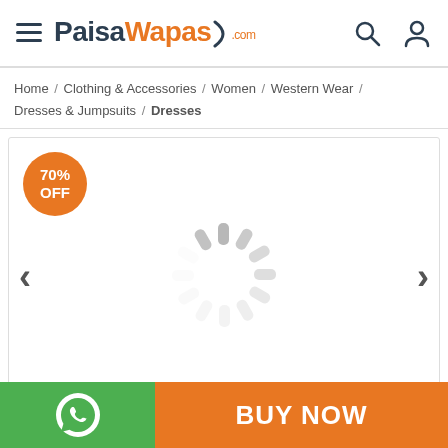PaisaWapas.com — hamburger menu, search icon, user icon
Home / Clothing & Accessories / Women / Western Wear / Dresses & Jumpsuits / Dresses
[Figure (screenshot): Product image area with 70% OFF badge, left and right navigation arrows, and a loading spinner in the center indicating the product image is loading.]
BUY NOW